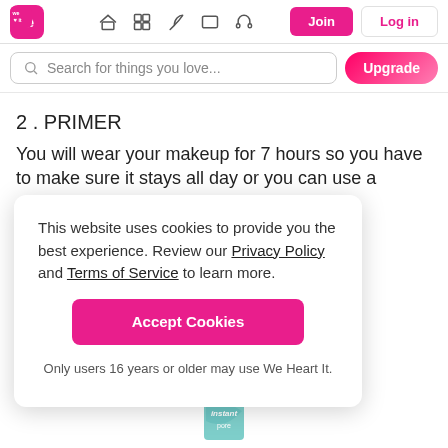We Heart It — Navigation bar with logo, home, grid, feather, rectangle, headphone icons, Join and Log in buttons
Search for things you love...
2 . PRIMER
You will wear your makeup for 7 hours so you have to make sure it stays all day or you can use a setting
This website uses cookies to provide you the best experience. Review our Privacy Policy and Terms of Service to learn more.

Accept Cookies

Only users 16 years or older may use We Heart It.
[Figure (photo): Partial view of a green cosmetic tube (Instant) at the bottom of the page]